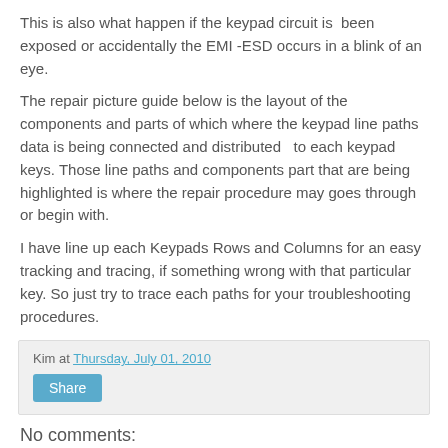This is also what happen if the keypad circuit is  been exposed or accidentally the EMI -ESD occurs in a blink of an eye.
The repair picture guide below is the layout of the components and parts of which where the keypad line paths data is being connected and distributed  to each keypad keys. Those line paths and components part that are being highlighted is where the repair procedure may goes through or begin with.
I have line up each Keypads Rows and Columns for an easy tracking and tracing, if something wrong with that particular key. So just try to trace each paths for your troubleshooting procedures.
Kim at Thursday, July 01, 2010
Share
No comments: